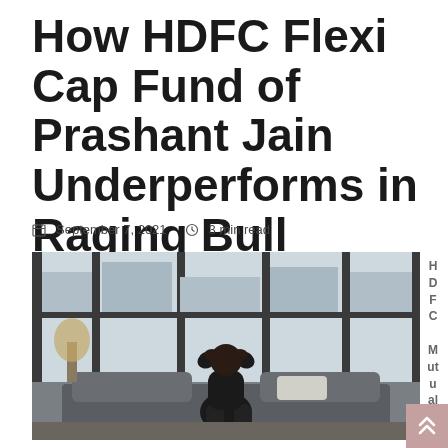How HDFC Flexi Cap Fund of Prashant Jain Underperforms in Raging Bull Market ?
September 7, 2021   3 min read
[Figure (photo): Person sitting on a sofa with hands on head in a room with large windows overlooking a city skyline]
HDFC Mutual